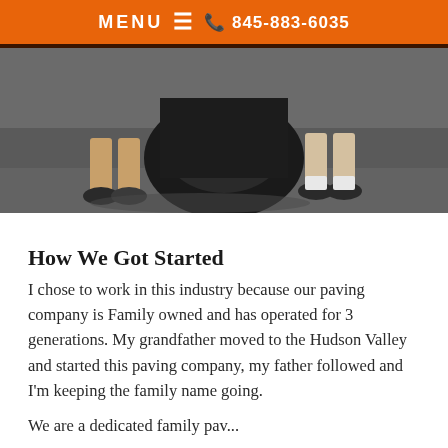MENU ≡ ☎ 845-883-6035
[Figure (photo): Photo showing the lower legs and feet of two people standing near a large piece of paving equipment on asphalt pavement.]
How We Got Started
I chose to work in this industry because our paving company is Family owned and has operated for 3 generations. My grandfather moved to the Hudson Valley and started this paving company, my father followed and I'm keeping the family name going.
We are a dedicated family pav...